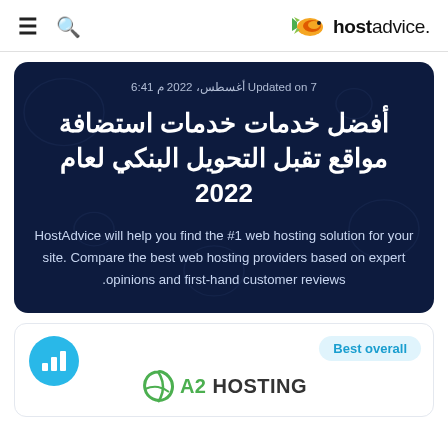≡ 🔍 hostadvice.
Updated on 7 أغسطس، 2022 م 6:41
أفضل خدمات خدمات استضافة مواقع تقبل التحويل البنكي لعام 2022
HostAdvice will help you find the #1 web hosting solution for your site. Compare the best web hosting providers based on expert opinions and first-hand customer reviews.
Best overall
[Figure (logo): A2 Hosting logo with green spiral icon and text 'A2 HOSTING']